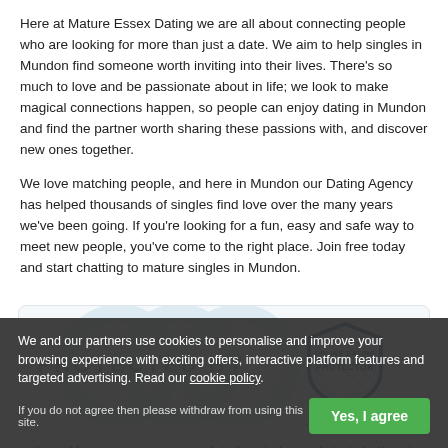Here at Mature Essex Dating we are all about connecting people who are looking for more than just a date. We aim to help singles in Mundon find someone worth inviting into their lives. There's so much to love and be passionate about in life; we look to make magical connections happen, so people can enjoy dating in Mundon and find the partner worth sharing these passions with, and discover new ones together.
We love matching people, and here in Mundon our Dating Agency has helped thousands of singles find love over the many years we've been going. If you're looking for a fun, easy and safe way to meet new people, you've come to the right place. Join free today and start chatting to mature singles in Mundon.
[Figure (logo): Protected By Online Dating Protector badge with shield logo and watermark]
We and our partners use cookies to personalise and improve your browsing experience with exciting offers, interactive platform features and targeted advertising. Read our cookie policy.
If you do not agree then please withdraw from using this site.
Putting Your Safety First
All Profiles Checked and Moderated